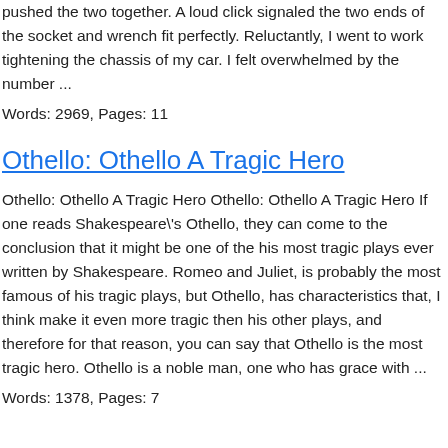pushed the two together. A loud click signaled the two ends of the socket and wrench fit perfectly. Reluctantly, I went to work tightening the chassis of my car. I felt overwhelmed by the number ...
Words: 2969, Pages: 11
Othello: Othello A Tragic Hero
Othello: Othello A Tragic Hero Othello: Othello A Tragic Hero If one reads Shakespeare\'s Othello, they can come to the conclusion that it might be one of the his most tragic plays ever written by Shakespeare. Romeo and Juliet, is probably the most famous of his tragic plays, but Othello, has characteristics that, I think make it even more tragic then his other plays, and therefore for that reason, you can say that Othello is the most tragic hero. Othello is a noble man, one who has grace with ...
Words: 1378, Pages: 7